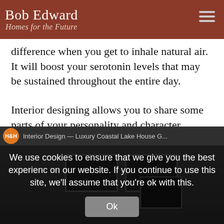Bob Edward — Homes for the Future
difference when you get to inhale natural air. It will boost your serotonin levels that may be sustained throughout the entire day.
Interior designing allows you to share some parts of your personality and character. Consider your house as a canvas when you plan to renovate. You're the one who will be enjoying how it's decorated, so let it conform to your taste.
[Figure (screenshot): Screenshot of a YouTube video titled 'Interior Design — Luxury Coastal Lake House' with an H&H channel badge, overlaid by a cookie consent dialog reading: 'We use cookies to ensure that we give you the best experience on our website. If you continue to use this site, we'll assume that you're ok with this.' with an 'Ok' button.]